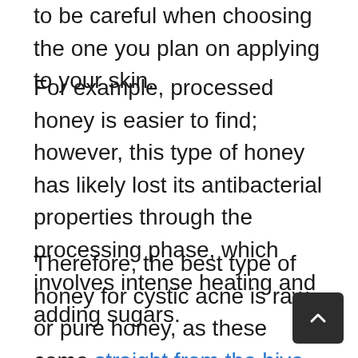to be careful when choosing the one you plan on applying to your skin.
For example, processed honey is easier to find; however, this type of honey has likely lost its antibacterial properties through the processing phase, which involves intense heating and adding sugars.
Therefore, the best type of honey for cystic acne is raw or pure honey, as these come straight from the hive and are available in filtered and unfiltered forms but they generally don't contain added ingredients.